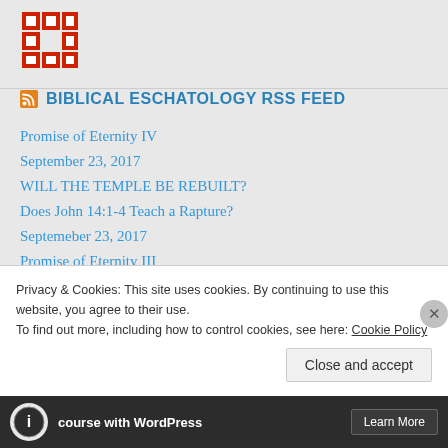[Figure (logo): Red and white pixel/cross pattern logo icon in top left]
BIBLICAL ESCHATOLOGY RSS FEED
Promise of Eternity IV
September 23, 2017
WILL THE TEMPLE BE REBUILT?
Does John 14:1-4 Teach a Rapture?
Septemeber 23, 2017
Promise of Eternity III
Untitled
Promise of Eternity II
Promise of Eternity PI
Privacy & Cookies: This site uses cookies. By continuing to use this website, you agree to their use.
To find out more, including how to control cookies, see here: Cookie Policy
Close and accept
course with WordPress